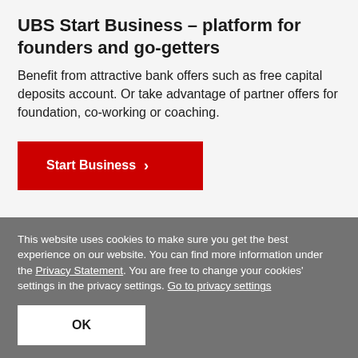UBS Start Business – platform for founders and go-getters
Benefit from attractive bank offers such as free capital deposits account. Or take advantage of partner offers for foundation, co-working or coaching.
Start Business →
This website uses cookies to make sure you get the best experience on our website. You can find more information under the Privacy Statement. You are free to change your cookies' settings in the privacy settings. Go to privacy settings
OK